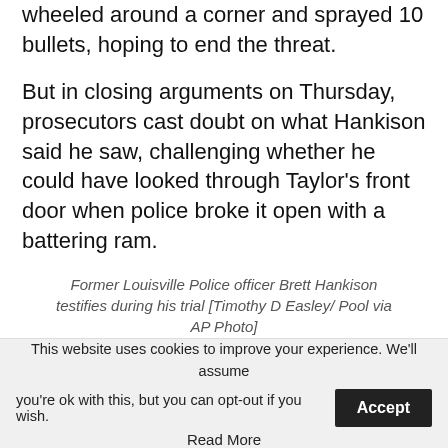wheeled around a corner and sprayed 10 bullets, hoping to end the threat.
But in closing arguments on Thursday, prosecutors cast doubt on what Hankison said he saw, challenging whether he could have looked through Taylor’s front door when police broke it open with a battering ram.
Former Louisville Police officer Brett Hankison testifies during his trial [Timothy D Easley/ Pool via AP Photo]
“He was never in the doorway,” Assistant Kentucky Attorney General Barbara Maines
This website uses cookies to improve your experience. We’ll assume you’re ok with this, but you can opt-out if you wish.
Accept
Read More